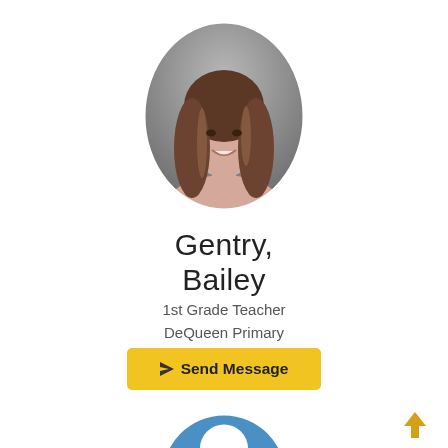[Figure (photo): Oval profile photo of Bailey Gentry, a young woman with long brown hair, smiling, against a gray background.]
Gentry, Bailey
1st Grade Teacher
DeQueen Primary
[Figure (other): Yellow 'Send Message' button with a paper-plane icon]
[Figure (illustration): Blue generic user/profile icon (circle with person silhouette), partially visible at bottom of page]
[Figure (other): Gold/yellow upward arrow icon in bottom-right area]